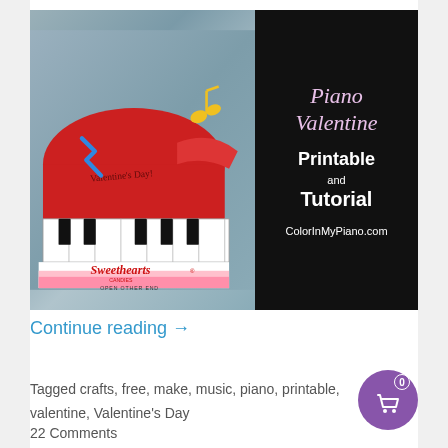[Figure (photo): A photo composite: left half shows a red toy grand piano made from a Sweethearts Candies box with piano keys, music note and lightning bolt decorations; right half shows black background with text 'Piano Valentine Printable and Tutorial ColorInMyPiano.com' in pink/white lettering]
Continue reading →
Tagged crafts, free, make, music, piano, printable, valentine, Valentine's Day
22 Comments